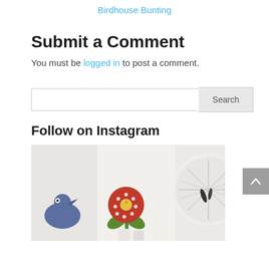Birdhouse Bunting
Submit a Comment
You must be logged in to post a comment.
Search
Follow on Instagram
[Figure (photo): Instagram photo showing felt craft appliqué pieces — a red flower with green leaves, a blue bird shape, and a white ceramic plate or mould on a white background.]